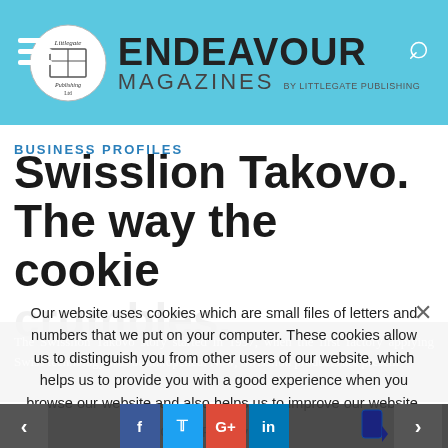Endeavour Magazines by Littlegate Publishing
BUSINESS PROFILES
Swisslion Takovo. The way the cookie crumbles.
The Swisslion Takovo story started in 1997, when the first factory applying Swiss technology was built...opened. Now, Swisslion products are present
Our website uses cookies which are small files of letters and numbers that we put on your computer. These cookies allow us to distinguish you from other users of our website, which helps us to provide you with a good experience when you browse our website and also helps us to improve our website.
Ok   Privacy policy